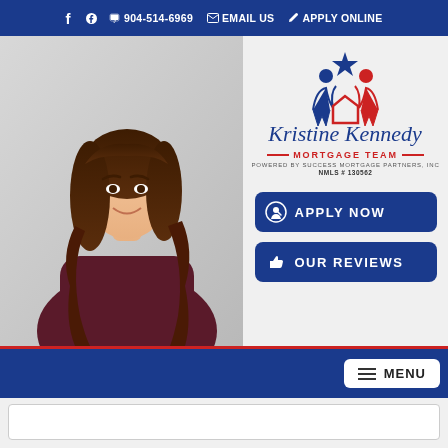f  📞 904-514-6969  ✉ EMAIL US  ✏ APPLY ONLINE
[Figure (photo): Website screenshot for Kristine Kennedy Mortgage Team. Left side shows a woman with long brunette hair wearing a dark maroon lace top smiling. Right side shows the Kristine Kennedy Mortgage Team logo with two figures and a star icon above a house shape in blue and red, with the name in blue script lettering, 'MORTGAGE TEAM' in red, 'POWERED BY SUCCESS MORTGAGE PARTNERS, INC', 'NMLS # 130562', and two blue rounded rectangle buttons: 'APPLY NOW' and 'OUR REVIEWS'.]
APPLY NOW
OUR REVIEWS
MENU